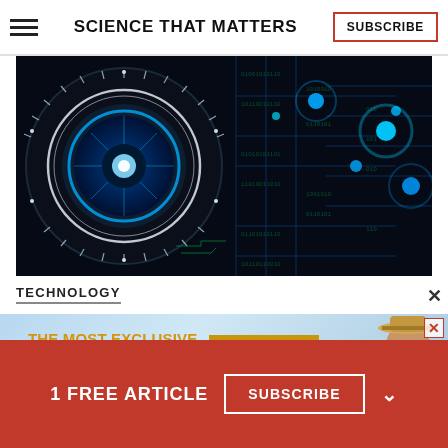SCIENCE THAT MATTERS
[Figure (illustration): Dark technology image with a glowing blue circular eye/lens element on the left side and neon blue circuit board patterns and data nodes on the right, set against a black background. Digital binary code patterns and light points are visible throughout.]
TECHNOLOGY
[Figure (infographic): Advertisement banner with light blue background showing 'THE MOST EXCLUSIVE TOURS OF EGYPT EVER OFFERED' text in gold, a 'JOIN NOW' button in gold/amber, and a photo of a smiling man wearing a straw hat on the right.]
1 FREE ARTICLE
SUBSCRIBE